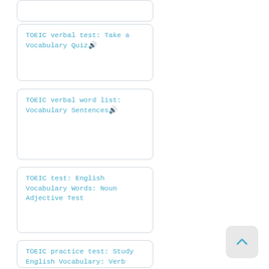TOEIC verbal test: Take a Vocabulary Quiz🔊
TOEIC verbal word list: Vocabulary Sentences🔊
TOEIC test: English Vocabulary Words: Noun Adjective Test
TOEIC practice test: Study English Vocabulary: Verb Test
TOEIC verbal test: Vocabulary Activities...